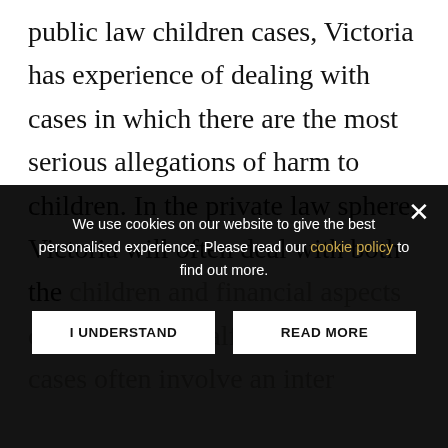public law children cases, Victoria has experience of dealing with cases in which there are the most serious allegations of harm to children. In the private law sphere, Victoria will often deal with both the children and financial aspects of a case on behalf of a client. Her cases often involve an inter...
We use cookies on our website to give the best personalised experience. Please read our cookie policy to find out more.